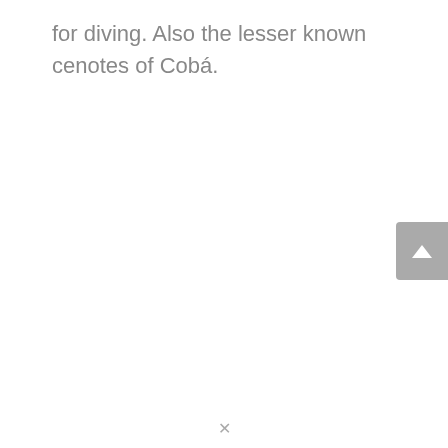for diving. Also the lesser known cenotes of Cobá.
[Figure (other): Scroll-to-top button, a rounded rectangle with an upward chevron arrow, gray background, positioned at bottom right edge of page.]